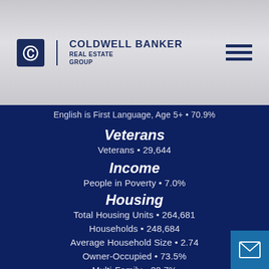Coldwell Banker Real Estate Group
English is First Language, Age 5+ • 70.9%
Veterans
Veterans • 29,644
Income
People in Poverty • 7.0%
Housing
Total Housing Units • 264,681
Households • 248,684
Average Household Size • 2.74
Owner-Occupied • 73.5%
Multi-Family • 20.7%
Owner-Occupied Median Value • $271,700